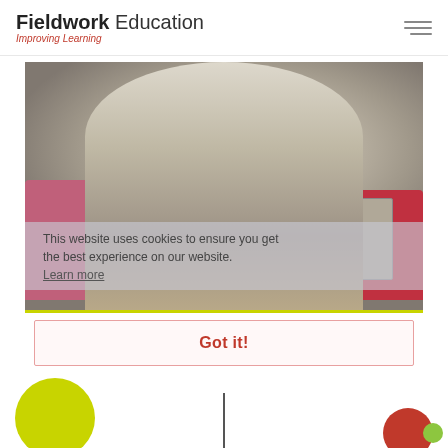Fieldwork Education – Improving Learning
[Figure (photo): A woman with glasses and blonde hair wearing a grey blazer, sitting at a table with a laptop, in a meeting room with colorful chairs. A cookie consent overlay reads: 'This website uses cookies to ensure you get the best experience on our website. Learn more']
Got it!
[Figure (illustration): Partial decorative circles at the bottom of the page: a large yellow-green circle on the left, a vertical dividing line in the center, a red circle on the right with a small green circle]